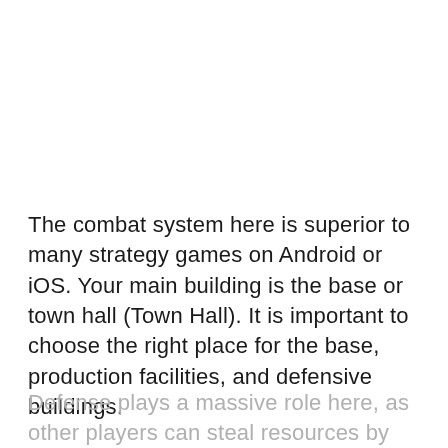The combat system here is superior to many strategy games on Android or iOS. Your main building is the base or town hall (Town Hall). It is important to choose the right place for the base, production facilities, and defensive buildings.
Defense plays a massive role here, as other players can steal resources by attacking other